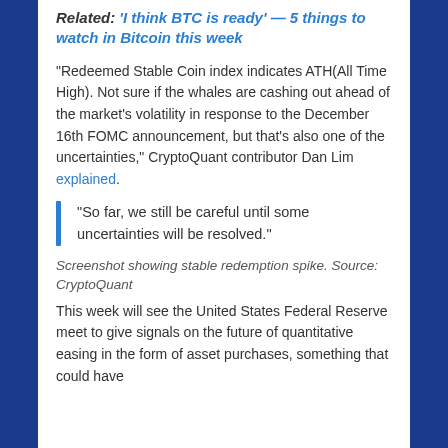Related: 'I think BTC is ready' — 5 things to watch in Bitcoin this week
“Redeemed Stable Coin index indicates ATH(All Time High). Not sure if the whales are cashing out ahead of the market’s volatility in response to the December 16th FOMC announcement, but that’s also one of the uncertainties,” CryptoQuant contributor Dan Lim explained.
“So far, we still be careful until some uncertainties will be resolved.”
Screenshot showing stable redemption spike. Source: CryptoQuant
This week will see the United States Federal Reserve meet to give signals on the future of quantitative easing in the form of asset purchases, something that could have